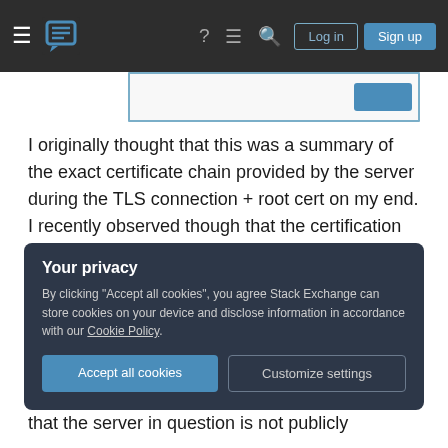Stack Exchange navigation bar with hamburger menu, logo, help, chat, search icons, Log in and Sign up buttons
[Figure (screenshot): Partial screenshot of a UI element with a blue border and a blue button on the right]
I originally thought that this was a summary of the exact certificate chain provided by the server during the TLS connection + root cert on my end. I recently observed though that the certification path section will display different things if I change my own locally stored intermediates (even though I haven't changed anything on the server side).
So my questions are:
Your privacy
By clicking "Accept all cookies", you agree Stack Exchange can store cookies on your device and disclose information in accordance with our Cookie Policy.
Accept all cookies   Customize settings
that the server in question is not publicly